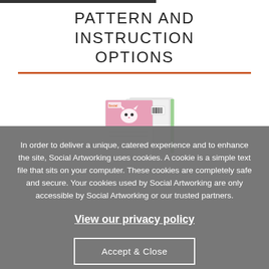PATTERN AND INSTRUCTION OPTIONS
[Figure (photo): Stack of printed sewing pattern booklets/instruction sheets with a pink cover showing a cat illustration]
In order to deliver a unique, catered experience and to enhance the site, Social Artworking uses cookies. A cookie is a simple text file that sits on your computer. These cookies are completely safe and secure. Your cookies used by Social Artworking are only accessible by Social Artworking or our trusted partners.
View our privacy policy
Accept & Close